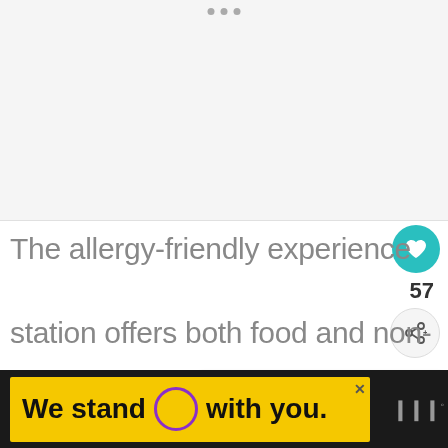[Figure (screenshot): Grey image placeholder area at top of page]
The allergy-friendly experience station offers both food and non-food options with a list of
[Figure (infographic): What's Next panel with thumbnail and text '5 Tips for Mickey's Not...']
[Figure (screenshot): Advertisement banner reading 'We stand O with you.']